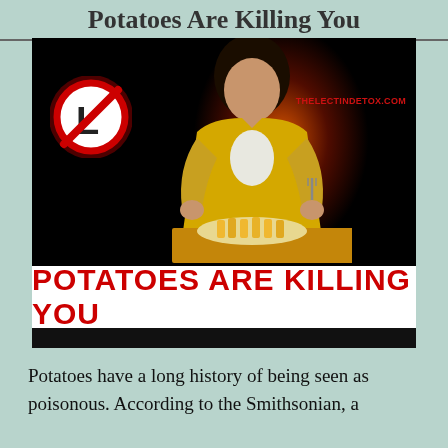Potatoes Are Killing You
[Figure (photo): Photo of a young person in a yellow jacket sitting at a table with a plate of french fries, holding a fork. A red 'no lectin' prohibition sign is visible on the left, and orange glow surrounds the person. Text overlay reads 'POTATOES ARE KILLING YOU' in bold red letters on white background. Website THELECITINDETOX.COM shown in red.]
Potatoes have a long history of being seen as poisonous. According to the Smithsonian, a